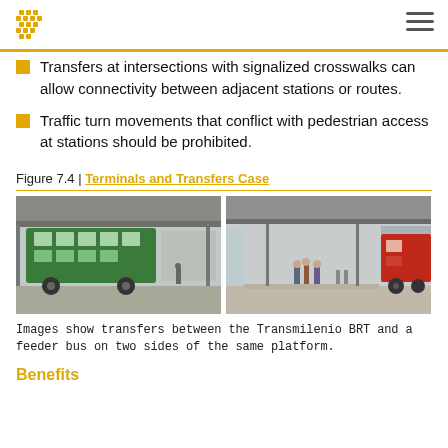Transfers at intersections with signalized crosswalks can allow connectivity between adjacent stations or routes.
Traffic turn movements that conflict with pedestrian access at stations should be prohibited.
Figure 7.4 | Terminals and Transfers Case
[Figure (photo): Two photos side by side showing transfers between the Transmilenio BRT and a feeder bus on two sides of the same platform. Left photo shows a green double-decker bus under a canopy. Right photo shows a red bus with people on a platform under a canopy.]
Images show transfers between the Transmilenio BRT and a feeder bus on two sides of the same platform.
Benefits